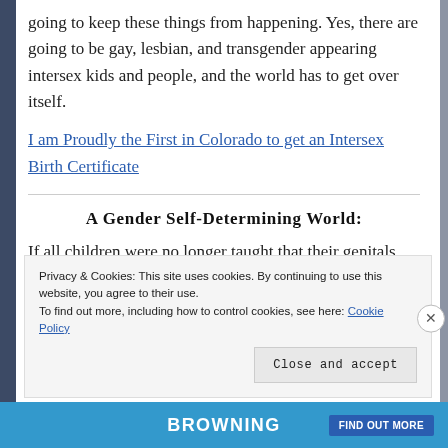going to keep these things from happening. Yes, there are going to be gay, lesbian, and transgender appearing intersex kids and people, and the world has to get over itself.
I am Proudly the First in Colorado to get an Intersex Birth Certificate
A Gender Self-Determining World:
If all children were no longer taught that their genitals made them a boy or a girl, and genital integrity was taught early on, wouldn’t this be a better world for intersex, transgender, and
Privacy & Cookies: This site uses cookies. By continuing to use this website, you agree to their use.
To find out more, including how to control cookies, see here: Cookie Policy
Close and accept